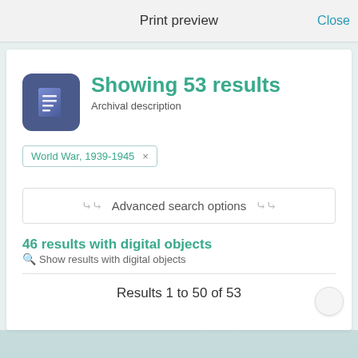Print preview   Close
Showing 53 results
Archival description
World War, 1939-1945 ×
❯❯ Advanced search options ❯❯
46 results with digital objects   🔍 Show results with digital objects
Results 1 to 50 of 53